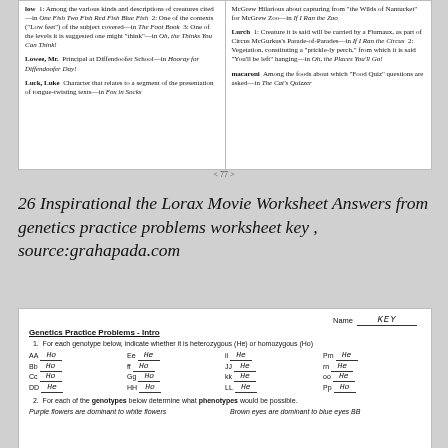[Figure (other): Scanned book index page showing entries for 'low', 'Lowee Mr.', 'Luck Luke' on left column and entries for 'Lurch', 'macaroni' on right column with italic book titles]
< 77 >
26 Inspirational the Lorax Movie Worksheet Answers from genetics practice problems worksheet key , source:grahapada.com
[Figure (other): Scanned genetics practice problems worksheet with Name: KEY, Question 1 about heterozygous or homozygous genotypes with answers (Ho/He), and beginning of Question 2 about phenotypes]
Name KEY
Genetics Practice Problems - Intro
1. For each genotype below, indicate whether it is heterozygous (He) or homozygous (Ho)
| AA Ho | Ee He | ii He | Pm He |
| Bb Ho | ff Ho | JJ He | rn He |
| Cc Ho | Gg Ho | kk He | oo He |
| DD He | HH Ho | LL He | Pp Ho |
2. For each of the genotypes below determine what phenotypes would be possible.
Purple flowers are dominant to white flowers
Brown eyes are dominant to blue eyes BB [answer]